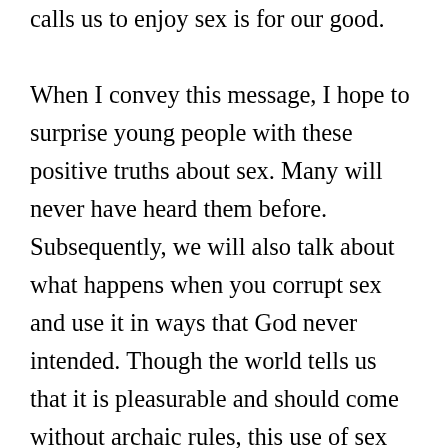calls us to enjoy sex is for our good. When I convey this message, I hope to surprise young people with these positive truths about sex. Many will never have heard them before. Subsequently, we will also talk about what happens when you corrupt sex and use it in ways that God never intended. Though the world tells us that it is pleasurable and should come without archaic rules, this use of sex will not deliver what it promises. Instead, it will deliver painful consequences, brokenness, shattered dreams, and relational injury. It